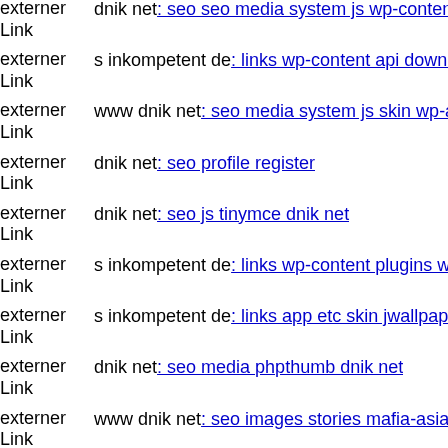externer Link | dnik net: seo seo media system js wp-content plugins wp-fi...
externer Link | s inkompetent de: links wp-content api downloader compone...
externer Link | www dnik net: seo media system js skin wp-admin includes...
externer Link | dnik net: seo profile register
externer Link | dnik net: seo js tinymce dnik net
externer Link | s inkompetent de: links wp-content plugins wp-mobile-dete...
externer Link | s inkompetent de: links app etc skin jwallpapers files pluplo...
externer Link | dnik net: seo media phpthumb dnik net
externer Link | www dnik net: seo images stories mafia-asia php
externer Link | s inkompetent de: links app etc skin administrator wp-conte...
externer Link | dnik net: seo mediak
externer Link | www s inkompetent de: links app etc skin jwallpapers files...